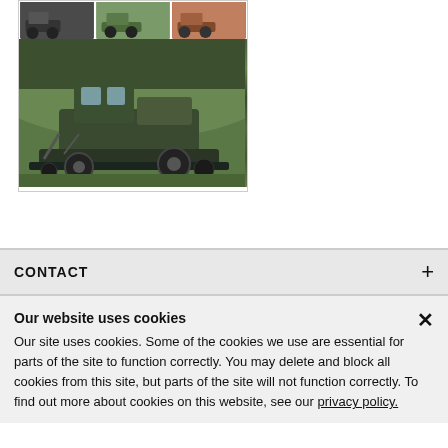[Figure (photo): Photo collage showing multiple images of riding lawn mowers / turf maintenance vehicles. Top row has three small images of vehicles, and the main large image shows a green commercial mower/tractor working on a grassy slope.]
CONTACT
Our website uses cookies
Our site uses cookies. Some of the cookies we use are essential for parts of the site to function correctly. You may delete and block all cookies from this site, but parts of the site will not function correctly. To find out more about cookies on this website, see our privacy policy.